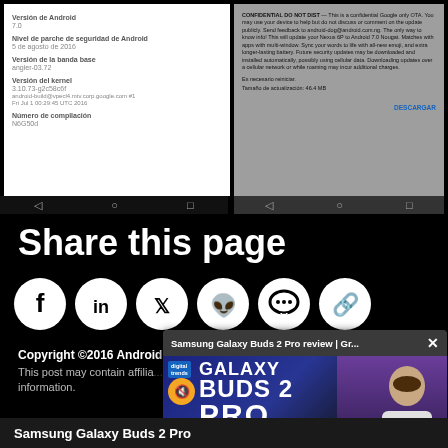[Figure (screenshot): Left Android phone screenshot showing device info: Versión de Android 7.0, Nivel de parche de seguridad de Android 5 de agosto de 2016, Versión de la banda base angler-03.72, Versión del kernel 3.10.73-g2c58c6f, Número de compilación N6G50d]
[Figure (screenshot): Right Android phone screenshot showing CONFIDENTIAL DO NOT DIST OTA update notice text in gray background]
Share this page
[Figure (infographic): Row of social media share icons: Facebook, LinkedIn, Twitter, Reddit, Chat, Link]
Copyright ©2016 Android He...
This post may contain affilia... information.
[Figure (screenshot): Samsung Galaxy Buds 2 Pro review video popup overlay showing Digital Trends logo, muted button, Galaxy Buds 2 Pro text and presenter]
Samsung Galaxy Buds 2 Pro